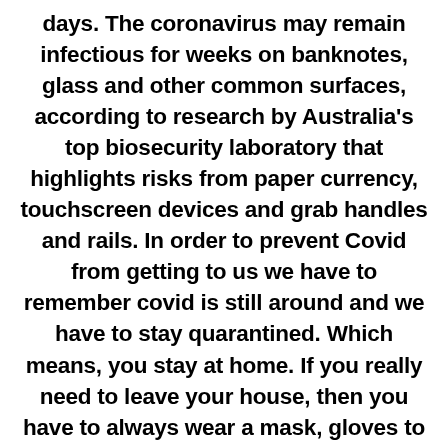days. The coronavirus may remain infectious for weeks on banknotes, glass and other common surfaces, according to research by Australia's top biosecurity laboratory that highlights risks from paper currency, touchscreen devices and grab handles and rails. In order to prevent Covid from getting to us we have to remember covid is still around and we have to stay quarantined. Which means, you stay at home. If you really need to leave your house, then you have to always wear a mask, gloves to protect your hands from touching anything that is infected and remain at least 6 feet away from others. The safer option is to just